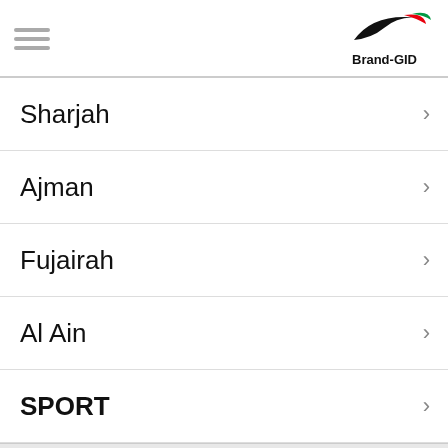[Figure (logo): Hamburger menu icon (three horizontal gray lines) on the left, Brand-GID logo with swoosh graphic on the right]
Sharjah
Ajman
Fujairah
Al Ain
SPORT
American cuisine
Arabian cuisine
Asian cuisine
bakery
BAR